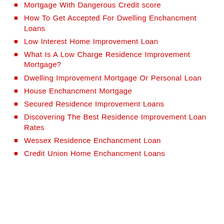Mortgage With Dangerous Credit score
How To Get Accepted For Dwelling Enchancment Loans
Low Interest Home Improvement Loan
What Is A Low Charge Residence Improvement Mortgage?
Dwelling Improvement Mortgage Or Personal Loan
House Enchancment Mortgage
Secured Residence Improvement Loans
Discovering The Best Residence Improvement Loan Rates
Wessex Residence Enchancment Loan
Credit Union Home Enchancment Loans